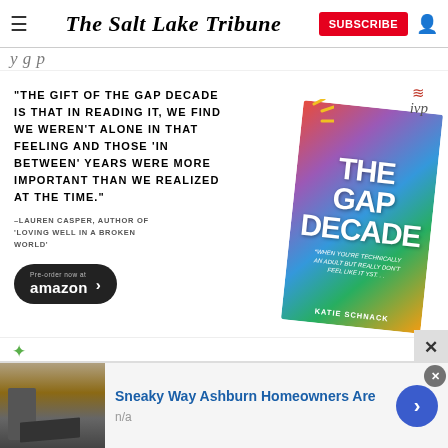The Salt Lake Tribune — SUBSCRIBE
(partial page title — italic text partially visible)
[Figure (photo): Advertisement for 'The Gap Decade' book by Katie Schnack. Left side shows a pull quote: '"THE GIFT OF THE GAP DECADE IS THAT IN READING IT, WE FIND WE WEREN'T ALONE IN THAT FEELING AND THOSE IN BETWEEN YEARS WERE MORE IMPORTANT THAN WE REALIZED AT THE TIME."' attributed to -LAUREN CASPER, AUTHOR OF 'LOVING WELL IN A BROKEN WORLD'. Below is a black Pre-order now at amazon button with arrow. Right side shows IVP logo and a colorful book cover with sparkle lines titled THE GAP DECADE by Katie Schnack.]
[Figure (screenshot): Bottom advertisement: photo of rooftop/construction work on left, text 'Sneaky Way Ashburn Homeowners Are' in blue with 'n/a' below, blue circle arrow button on right, close X button top right.]